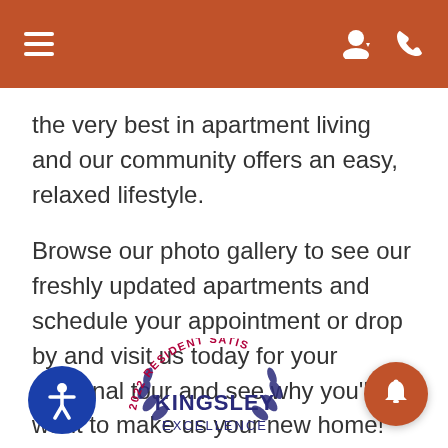Navigation bar with hamburger menu and user/phone icons
the very best in apartment living and our community offers an easy, relaxed lifestyle.
Browse our photo gallery to see our freshly updated apartments and schedule your appointment or drop by and visit us today for your personal tour and see why you'll want to make us your new home!
[Figure (logo): 2022 Resident Satisfaction award badge with Kingsley Excellence logo, accessibility icon button (blue circle with person icon), and a terracotta chat/bell button on the right]